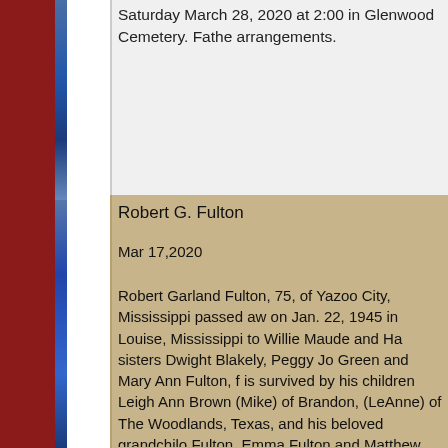Saturday March 28, 2020 at 2:00 in Glenwood Cemetery. Fathe arrangements.
Robert G. Fulton
Mar 17,2020
Robert Garland Fulton, 75, of Yazoo City, Mississippi passed aw on Jan. 22, 1945 in Louise, Mississippi to Willie Maude and Ha sisters Dwight Blakely, Peggy Jo Green and Mary Ann Fulton, f is survived by his children Leigh Ann Brown (Mike) of Brandon, (LeAnne) of The Woodlands, Texas, and his beloved grandchilo Fulton, Emma Fulton and Matthew Fulton, and numerous niece Services will be held on Monday, March 16 from 5-7pm at Strick God prior to the funeral. Funeral services will be on Tuesday, M Bayou Cemetery. Pallbearers will be John Fulton, Steven Keith, expert carpenter and talented craftsman. There was not much h him to many endeavors including owning R&R Lumber Yard an storyteller and entertained all those who knew and loved him. H Robert never met a stranger and his laughter was infectious. Ro character and you could always count on a bet to seal the deal